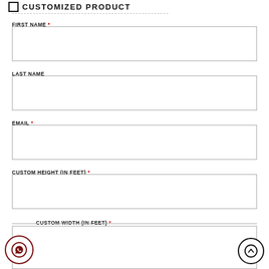CUSTOMIZED PRODUCT
FIRST NAME *
LAST NAME
EMAIL *
CUSTOM HEIGHT (IN FEET) *
CUSTOM WIDTH (IN FEET) *